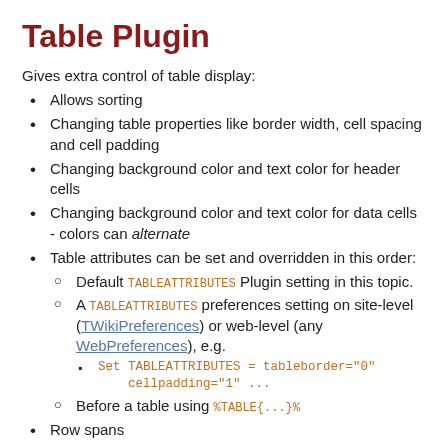Table Plugin
Gives extra control of table display:
Allows sorting
Changing table properties like border width, cell spacing and cell padding
Changing background color and text color for header cells
Changing background color and text color for data cells - colors can alternate
Table attributes can be set and overridden in this order:
Default TABLEATTRIBUTES Plugin setting in this topic.
A TABLEATTRIBUTES preferences setting on site-level (TWikiPreferences) or web-level (any WebPreferences), e.g.
Set TABLEATTRIBUTES = tableborder="0" cellpadding="1" ...
Before a table using %TABLE{...}%
Row spans